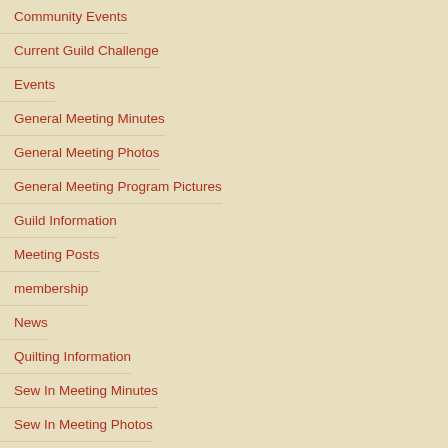Community Events
Current Guild Challenge
Events
General Meeting Minutes
General Meeting Photos
General Meeting Program Pictures
Guild Information
Meeting Posts
membership
News
Quilting Information
Sew In Meeting Minutes
Sew In Meeting Photos
Sew ins
Upcoming Classes